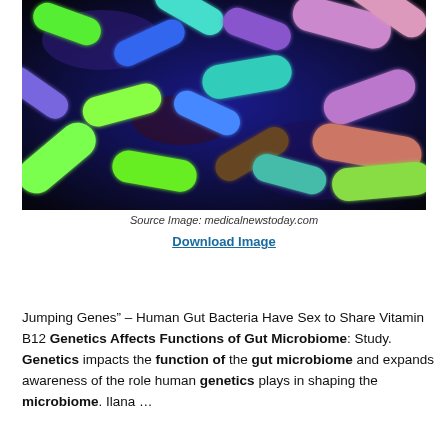[Figure (photo): Colorful fluorescence microscopy image of rod-shaped gut bacteria in green, teal, pink, and purple hues against a dark blue background. Source: medicalnewstoday.com]
Source Image: medicalnewstoday.com
Download Image
Jumping Genes” – Human Gut Bacteria Have Sex to Share Vitamin B12 Genetics Affects Functions of Gut Microbiome: Study. Genetics impacts the function of the gut microbiome and expands awareness of the role human genetics plays in shaping the microbiome. Ilana …